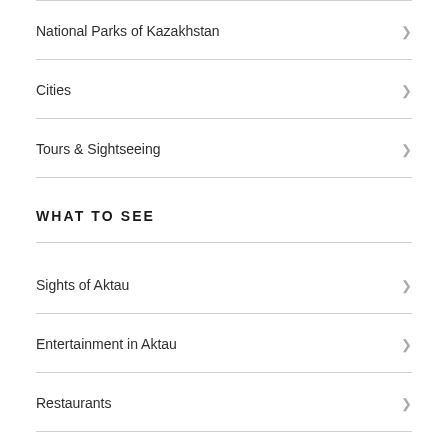National Parks of Kazakhstan
Cities
Tours & Sightseeing
WHAT TO SEE
Sights of Aktau
Entertainment in Aktau
Restaurants